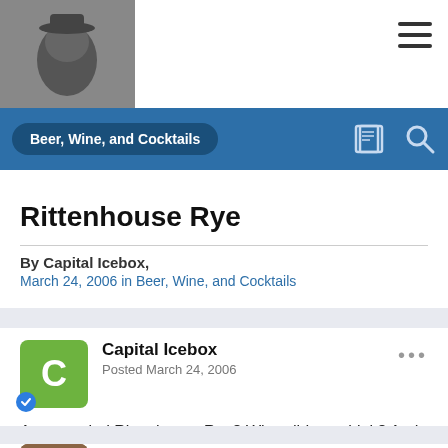Beer, Wine, and Cocktails
Rittenhouse Rye
By Capital Icebox,
March 24, 2006 in Beer, Wine, and Cocktails
Capital Icebox
Posted March 24, 2006
Anyone tried Rittenhouse Rye? What did you think? And where can you find it around here?
jparrott